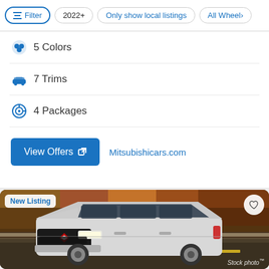Filter | 2022+ | Only show local listings | All Wheel
5 Colors
7 Trims
4 Packages
View Offers | Mitsubishicars.com
[Figure (photo): Mitsubishi SUV (white/silver) driving on a road with autumn trees in background. Badge: New Listing. Stock photo.]